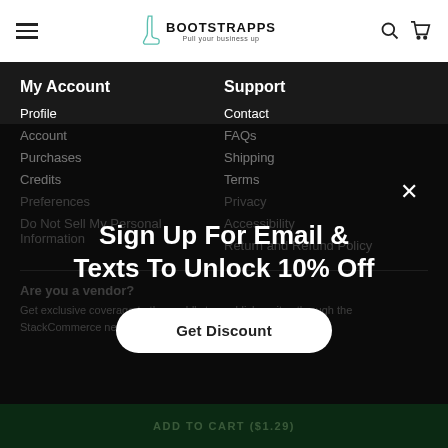BOOTSTRAPPS - Pull your business up
My Account
Profile
Account
Purchases
Credits
Preferences
Do Not Sell My Personal Information
Support
Contact
FAQs
Shipping
Terms
Privacy
Accessibility
Return and Refund Policy
Are you a vendor?
Get exclusive coverage to the world's top publisher sites through the StackCommerce network.
Sign Up For Email & Texts To Unlock 10% Off
Get Discount
ADD TO CART ($1.29)